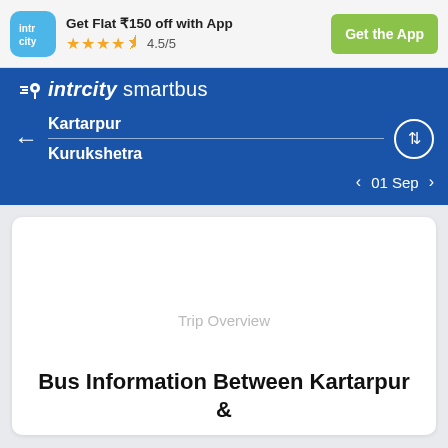Get Flat ₹150 off with App  4.5/5  Get the App
[Figure (screenshot): IntrCity SmartBus app header with logo, route search from Kartarpur to Kurukshetra, date 01 Sep]
Trip Overview
Bus Information Between Kartarpur &